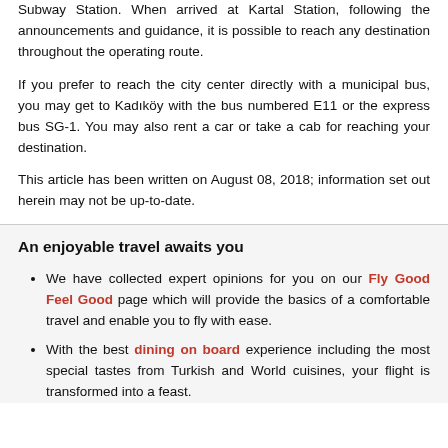Subway Station. When arrived at Kartal Station, following the announcements and guidance, it is possible to reach any destination throughout the operating route.
If you prefer to reach the city center directly with a municipal bus, you may get to Kadıköy with the bus numbered E11 or the express bus SG-1. You may also rent a car or take a cab for reaching your destination.
This article has been written on August 08, 2018; information set out herein may not be up-to-date.
An enjoyable travel awaits you
We have collected expert opinions for you on our Fly Good Feel Good page which will provide the basics of a comfortable travel and enable you to fly with ease.
With the best dining on board experience including the most special tastes from Turkish and World cuisines, your flight is transformed into a feast.